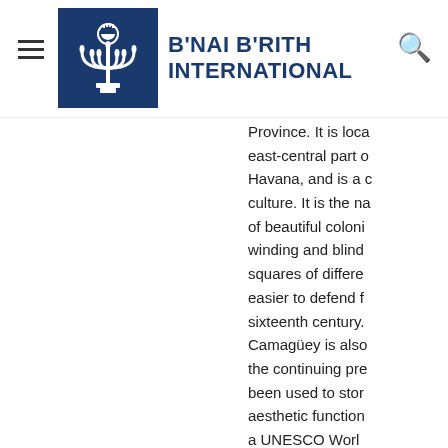[Figure (logo): B'nai B'rith International logo: blue square with white menorah/candelabra symbol, alongside bold blue text reading B'NAI B'RITH INTERNATIONAL]
Province. It is loca... east-central part of... Havana, and is a c... culture. It is the na... of beautiful coloni... winding and blind... squares of differe... easier to defend f... sixteenth century.... Camagüey is also ... the continuing pre... been used to stor... aesthetic function... a UNESCO Worl...